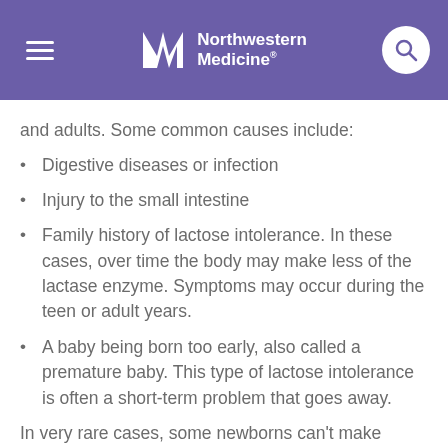Northwestern Medicine
and adults. Some common causes include:
Digestive diseases or infection
Injury to the small intestine
Family history of lactose intolerance. In these cases, over time the body may make less of the lactase enzyme. Symptoms may occur during the teen or adult years.
A baby being born too early, also called a premature baby. This type of lactose intolerance is often a short-term problem that goes away.
In very rare cases, some newborns can't make